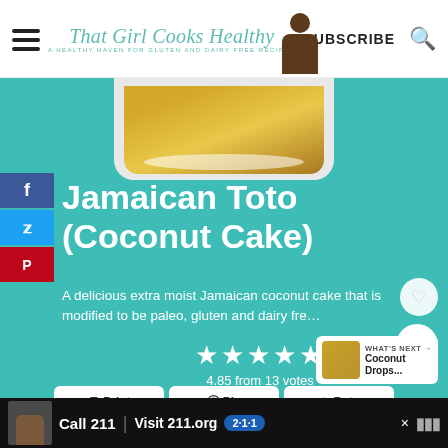That Girl Cooks Healthy – A healthy haven for gluten and dairy free recipes | SUBSCRIBE
[Figure (photo): Jamaican Toto coconut cake on a plate, top portion visible]
Jamaican Toto (Coconut Cake)
A delicious extra moist Jamaican coconut cake that is modified to be paleo, gluten and dairy fre…
4.85 from 13 votes
WHAT'S NEXT → Coconut Drops...
Print  Pin  Rate
Call 211 | Visit 211.org  2·1·1  [ad]